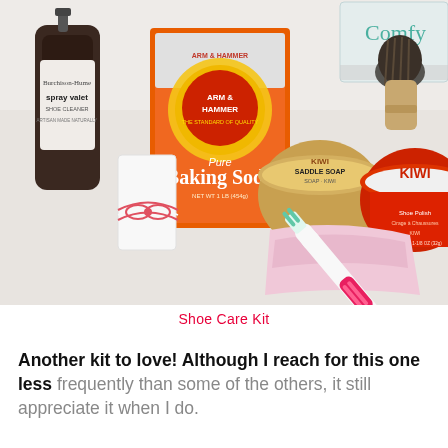[Figure (photo): A flat-lay photo of a shoe care kit on a white surface, including: a brown glass bottle of 'Burchison-Hume spray valet shoe cleaner', an Arm & Hammer Pure Baking Soda box, a white eraser tied with red-and-white twine, a pink toothbrush (Oral-B), a folded pink cloth, a tin of Kiwi Saddle Soap, a tin of Kiwi shoe polish, and a brown bristle brush.]
Shoe Care Kit
Another kit to love! Although I reach for this one less frequently than some of the others, it still appreciate it when I do.